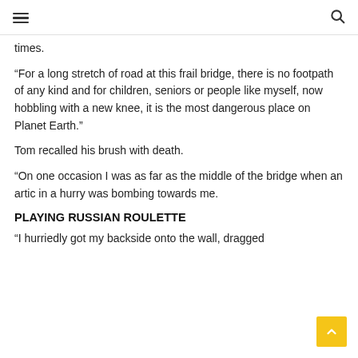[hamburger menu] [search icon]
times.
“For a long stretch of road at this frail bridge, there is no footpath of any kind and for children, seniors or people like myself, now hobbling with a new knee, it is the most dangerous place on Planet Earth.”
Tom recalled his brush with death.
“On one occasion I was as far as the middle of the bridge when an artic in a hurry was bombing towards me.
PLAYING RUSSIAN ROULETTE
“I hurriedly got my backside onto the wall, dragged